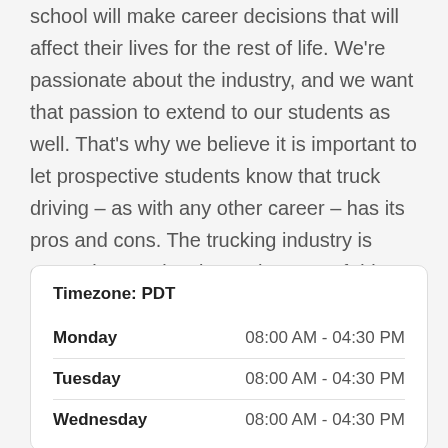school will make career decisions that will affect their lives for the rest of life. We're passionate about the industry, and we want that passion to extend to our students as well. That's why we believe it is important to let prospective students know that truck driving – as with any other career – has its pros and cons. The trucking industry is currently experiencing a shortage of drivers, which will likely become more severe in the 2000's. Experienced drivers can make a great living! For more information, call us today.
| Timezone: PDT |  |
| --- | --- |
| Monday | 08:00 AM - 04:30 PM |
| Tuesday | 08:00 AM - 04:30 PM |
| Wednesday | 08:00 AM - 04:30 PM |